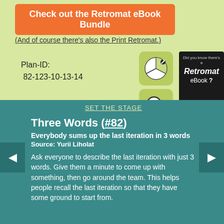Check out the Retromat eBook Bundle
(And of course there's also the Print Retromat.)
Plan-ID:
 82-123-10-13-14
[Figure (illustration): Two green icon boxes: one with a pie/citrus slice icon, one with a magnifying glass icon]
[Figure (infographic): Dark box ad: Did you know there's a Retromat eBook?]
SET THE STAGE
Three Words (#82)
Everybody sums up the last iteration in 3 words
Source: Yurii Liholat
Ask everyone to describe the last iteration with just 3 words. Give them a minute to come up with something, then go around the team. This helps people recall the last iteration so that they have some ground to start from.